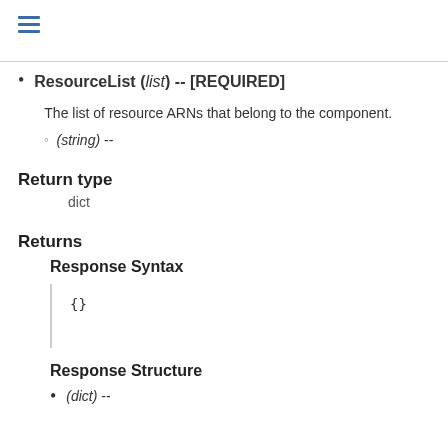ResourceList (list) -- [REQUIRED]
The list of resource ARNs that belong to the component.
(string) --
Return type
dict
Returns
Response Syntax
{}
Response Structure
(dict) --